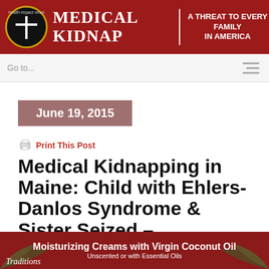[Figure (logo): Medical Kidnap website header banner with logo, site title 'Medical Kidnap' and tagline 'A Threat to Every Family in America']
Go to...
June 19, 2015
Print This Post
Medical Kidnapping in Maine: Child with Ehlers-Danlos Syndrome & Sister Seized – Grandfather Commits Suicide
[Figure (photo): Advertisement banner: Moisturizing Creams with Virgin Coconut Oil, Unscented or with Essential Oils, Traditions brand]